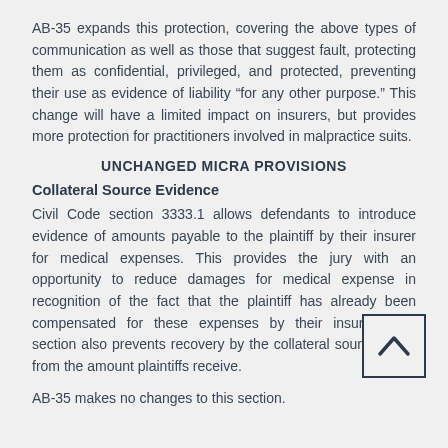AB-35 expands this protection, covering the above types of communication as well as those that suggest fault, protecting them as confidential, privileged, and protected, preventing their use as evidence of liability “for any other purpose.”  This change will have a limited impact on insurers, but provides more protection for practitioners involved in malpractice suits.
UNCHANGED MICRA PROVISIONS
Collateral Source Evidence
Civil Code section 3333.1 allows defendants to introduce evidence of amounts payable to the plaintiff by their insurer for medical expenses.  This provides the jury with an opportunity to reduce damages for medical expense in recognition of the fact that the plaintiff has already been compensated for these expenses by their insurer.  This section also prevents recovery by the collateral source taken from the amount plaintiffs receive.
AB-35 makes no changes to this section.